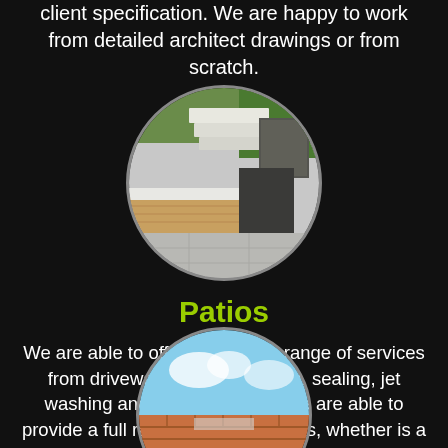client specification. We are happy to work from detailed architect drawings or from scratch.
[Figure (photo): Circular cropped photo of a modern patio/garden area with steps, paving slabs, wooden decking, and structured planting on a black background.]
Patios
We are able to offer you a wide range of services from driveways, patios, fencing, sealing, jet washing and brick work. Also we are able to provide a full range of ground works, whether is a concrete base for a shed or footing for a house we can help.
[Figure (photo): Partially visible circular cropped photo at the bottom of the page showing a building exterior with sky.]